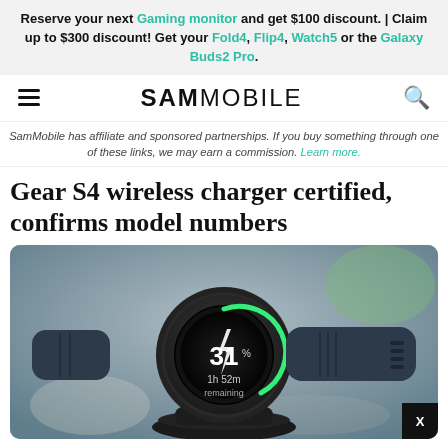Reserve your next Gaming monitor and get $100 discount. | Claim up to $300 discount! Get your Fold4, Flip4, Watch5 or the Galaxy Buds2 Pro.
SAMMOBILE
SamMobile has affiliate and sponsored partnerships. If you buy something through one of these links, we may earn a commission. Learn more.
Gear S4 wireless charger certified, confirms model numbers
[Figure (photo): Samsung Gear S3 smartwatch on wireless charging dock showing 31% battery charge and 1h 52m remaining on its round display, with green charging ring indicator. Watch has dark navy band.]